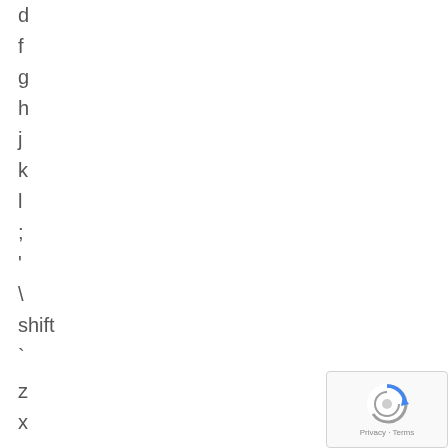d
f
g
h
j
k
l
;
'
\
shift
`
z
x
c
v
b
n
m
,
[Figure (logo): Google reCAPTCHA logo with Privacy and Terms text]